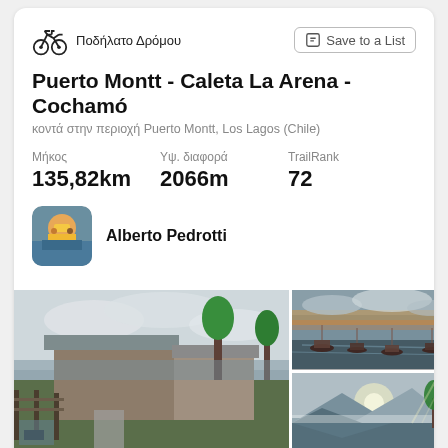Ποδήλατο Δρόμου
Save to a List
Puerto Montt - Caleta La Arena - Cochamó
κοντά στην περιοχή Puerto Montt, Los Lagos (Chile)
Μήκος
135,82km
Υψ. διαφορά
2066m
TrailRank
72
Alberto Pedrotti
[Figure (photo): Grid of 3 outdoor photos: large photo of rural buildings/shacks with corrugated roofs near water; top-right photo of boats moored at a harbor at dusk; bottom-right photo of misty mountains and lake with sunlight through trees.]
This track joins the northern end of the Carretera Austral and a wonderful complement to it, namely, the road along the Seno de